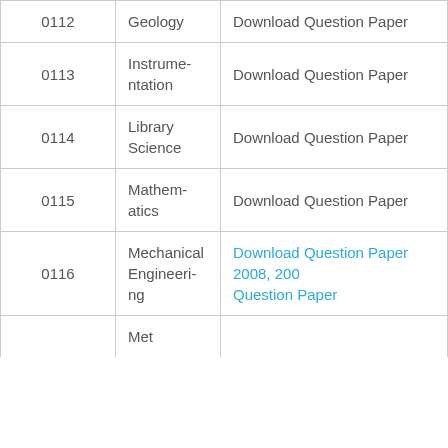| Code | Subject | Download |
| --- | --- | --- |
| 0112 | Geology | Download Question Paper |
| 0113 | Instrumentation | Download Question Paper |
| 0114 | Library Science | Download Question Paper |
| 0115 | Mathematics | Download Question Paper |
| 0116 | Mechanical Engineering | Download Question Paper 2008, 200… Question Paper |
|  | Met… |  |